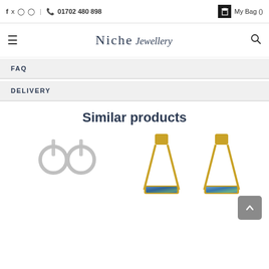f  t  p  instagram  |  01702 480 898    My Bag ()
[Figure (logo): Niche Jewellery logo with hamburger menu and search icon]
FAQ
DELIVERY
Similar products
[Figure (photo): Silver hoop drop earrings - a pair of minimalist silver earrings with circular hoops]
[Figure (photo): Gold triangular drop earrings with blue opal stone inlay at the base]